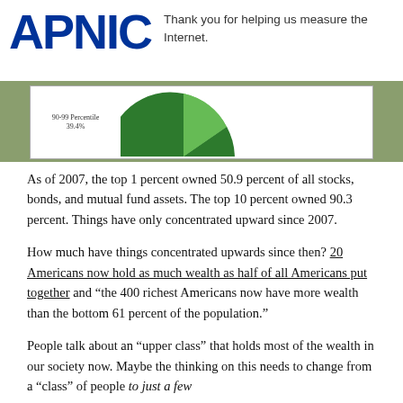Thank you for helping us measure the Internet.
[Figure (pie-chart): Partial view of a pie chart showing wealth distribution. Visible label: 90-99 Percentile 39.4%. Two green shades visible for pie slices.]
As of 2007, the top 1 percent owned 50.9 percent of all stocks, bonds, and mutual fund assets. The top 10 percent owned 90.3 percent. Things have only concentrated upward since 2007.
How much have things concentrated upwards since then? 20 Americans now hold as much wealth as half of all Americans put together and “the 400 richest Americans now have more wealth than the bottom 61 percent of the population.”
People talk about an “upper class” that holds most of the wealth in our society now. Maybe the thinking on this needs to change from a “class” of people to just a few